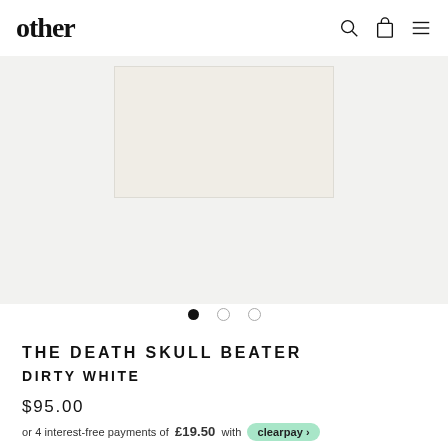other
[Figure (photo): Product photo of the Death Skull Beater in Dirty White — a rectangular off-white/cream colored beater hat band/undershirt shown on a light grey background.]
THE DEATH SKULL BEATER DIRTY WHITE
$95.00
or 4 interest-free payments of £19.50 with clearpay